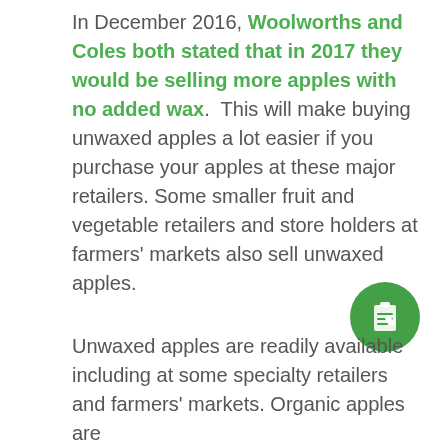In December 2016, Woolworths and Coles both stated that in 2017 they would be selling more apples with no added wax. This will make buying unwaxed apples a lot easier if you purchase your apples at these major retailers. Some smaller fruit and vegetable retailers and store holders at farmers' markets also sell unwaxed apples.
[Figure (illustration): Green circular floating action button with a clipboard/notes icon in white]
Unwaxed apples are readily available including at some specialty retailers and farmers' markets. Organic apples are